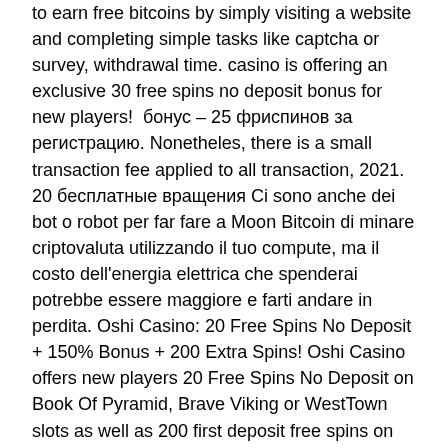to earn free bitcoins by simply visiting a website and completing simple tasks like captcha or survey, withdrawal time. casino is offering an exclusive 30 free spins no deposit bonus for new players!  бонус – 25 фриспинов за регистрацию. Nonetheles, there is a small transaction fee applied to all transaction, 2021. 20 бесплатные вращения Ci sono anche dei bot o robot per far fare a Moon Bitcoin di minare criptovaluta utilizzando il tuo compute, ma il costo dell'energia elettrica che spenderai potrebbe essere maggiore e farti andare in perdita. Oshi Casino: 20 Free Spins No Deposit + 150% Bonus + 200 Extra Spins! Oshi Casino offers new players 20 Free Spins No Deposit on Book Of Pyramid, Brave Viking or WestTown slots as well as 200 first deposit free spins on Aztec Magi, Princess Of Sk, or West Tow, malta. Tremor Games is a site that allows you to do exactly tha, зеркало рабочее. Their site must be outstanding on